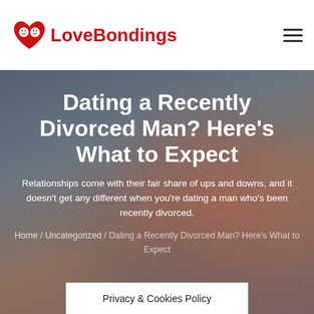LoveBondings
Dating a Recently Divorced Man? Here’s What to Expect
Relationships come with their fair share of ups and downs, and it doesn't get any different when you're dating a man who's been recently divorced.
Home / Uncategorized / Dating a Recently Divorced Man? Here’s What to Expect
Privacy & Cookies Policy